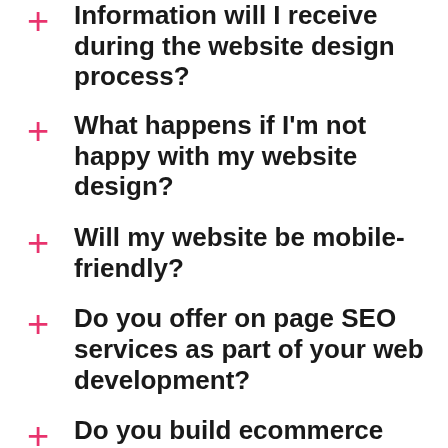Information will I receive during the website design process?
What happens if I'm not happy with my website design?
Will my website be mobile-friendly?
Do you offer on page SEO services as part of your web development?
Do you build ecommerce websites?